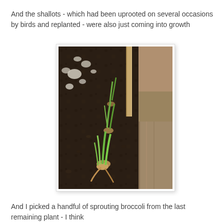And the shallots - which had been uprooted on several occasions by birds and replanted - were also just coming into growth
[Figure (photo): Close-up photograph of shallot plants sprouting from dark soil in a garden bed. Several green shoots are visible emerging from bulbs. A wooden stake and timber raised bed edge are visible on the right side of the image.]
And I picked a handful of sprouting broccoli from the last remaining plant - I think